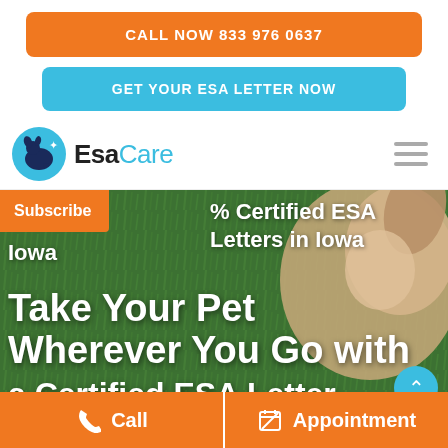CALL NOW 833 976 0637
GET YOUR ESA LETTER NOW
[Figure (logo): EsaCare logo with circular pet icon and text 'EsaCare']
[Figure (photo): Hero section with grass background, dog visible, text overlaid: '% Certified ESA Letters in Iowa', 'Take Your Pet Wherever You Go with a Certified ESA Letter']
Subscribe
% Certified ESA Letters in Iowa
Take Your Pet Wherever You Go with a Certified ESA Letter
Call
Appointment